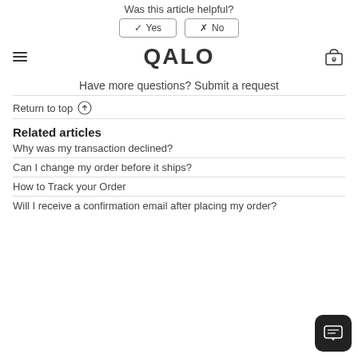Was this article helpful?
✓ Yes   ✗ No
[Figure (logo): QALO logo in bold dark text with shopping cart icon and hamburger menu]
Have more questions? Submit a request
Return to top ↑
Related articles
Why was my transaction declined?
Can I change my order before it ships?
How to Track your Order
Will I receive a confirmation email after placing my order?